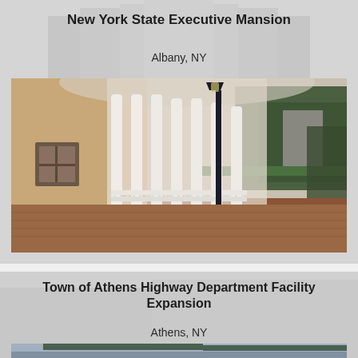New York State Executive Mansion
Albany, NY
[Figure (photo): Photograph of the New York State Executive Mansion exterior showing white columns, a curved porch with decorative railing, a black lamp post, shrubs, brick pathway, and green fence with trees in background]
Town of Athens Highway Department Facility Expansion
Athens, NY
[Figure (photo): Photograph of the Town of Athens Highway Department Facility Expansion showing a large industrial/agricultural style metal building with green roof, flags on poles, and cloudy sky]